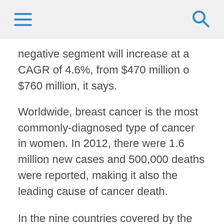[hamburger menu icon] [search icon]
negative segment will increase at a CAGR of 4.6%, from $470 million o $760 million, it says.
Worldwide, breast cancer is the most commonly-diagnosed type of cancer in women. In 2012, there were 1.6 million new cases and 500,000 deaths were reported, making it also the leading cause of cancer death.
In the nine countries covered by the IMS study – US, France, Germany, Italy, Spain, UK, Japan, China and Brazil – 1.2 million patients received drug treatment in 2013, and this number is set to increase, by a CAGR of 1.4%, to 1.4 million patients in 2023. In the five European Union